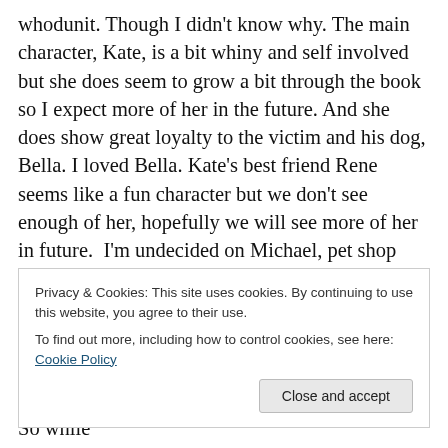whodunit. Though I didn't know why. The main character, Kate, is a bit whiny and self involved but she does seem to grow a bit through the book so I expect more of her in the future. And she does show great loyalty to the victim and his dog, Bella. I loved Bella. Kate's best friend Rene seems like a fun character but we don't see enough of her, hopefully we will see more of her in future.  I'm undecided on Michael, pet shop owner and romantic interest, because once again we don't see enough of him for him to become a better developed character. Towards the end he does seem like a good match for Kate, one who will help
Privacy & Cookies: This site uses cookies. By continuing to use this website, you agree to their use.
To find out more, including how to control cookies, see here: Cookie Policy
killer… Heck, maybe he was even a Republican." So while